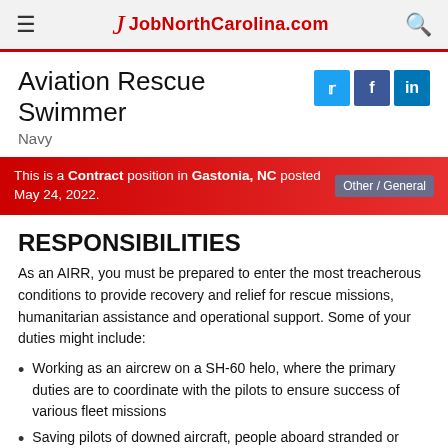JobNorthCarolina.com
Aviation Rescue Swimmer
Navy
This is a Contract position in Gastonia, NC posted May 24, 2022.   Other / General
RESPONSIBILITIES
As an AIRR, you must be prepared to enter the most treacherous conditions to provide recovery and relief for rescue missions, humanitarian assistance and operational support. Some of your duties might include:
Working as an aircrew on a SH-60 helo, where the primary duties are to coordinate with the pilots to ensure success of various fleet missions
Saving pilots of downed aircraft, people aboard stranded or capsized vessels at sea, or hikers and mountain climbers in